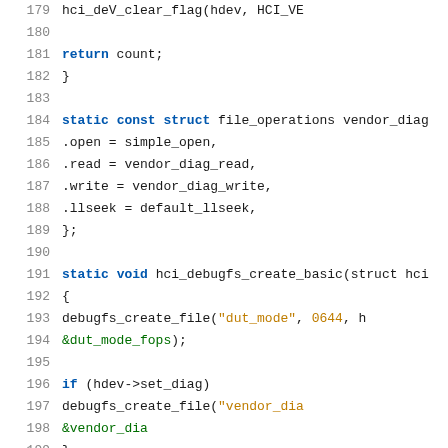[Figure (screenshot): Source code listing in C, lines 179-200, showing file_operations struct and hci_debugfs_create_basic function with syntax highlighting (keywords in blue, strings in orange/yellow, green for identifiers).]